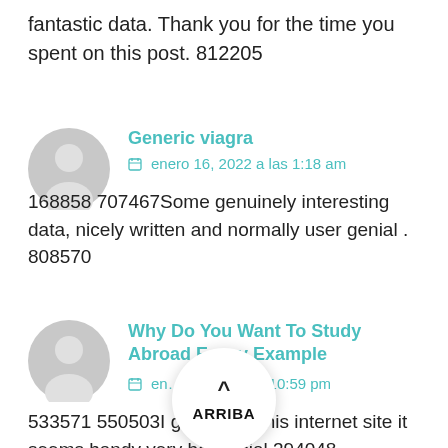fantastic data. Thank you for the time you spent on this post. 812205
Generic viagra
enero 16, 2022 a las 1:18 am
168858 707467Some genuinely interesting data, nicely written and normally user genial . 808570
Why Do You Want To Study Abroad Essay Example
enero 16, 2022 a las 10:59 pm
533571 550503I go favorite this internet site it seems handy very beneficial 394048
ARRIBA